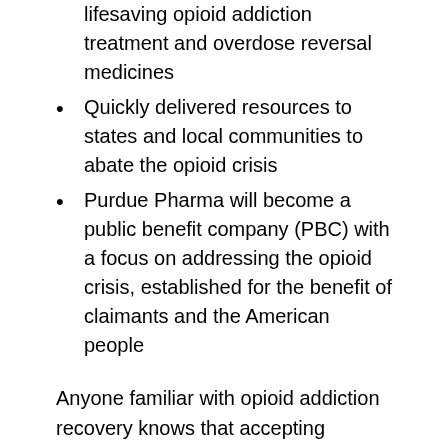lifesaving opioid addiction treatment and overdose reversal medicines
Quickly delivered resources to states and local communities to abate the opioid crisis
Purdue Pharma will become a public benefit company (PBC) with a focus on addressing the opioid crisis, established for the benefit of claimants and the American people
Anyone familiar with opioid addiction recovery knows that accepting responsibility is a massive step on the road to healing. Here at Asheville Recovery Center, we are grateful that Purdue Pharma has agreed to accept responsibility for the harm that they have caused both our country and our community. However, we also